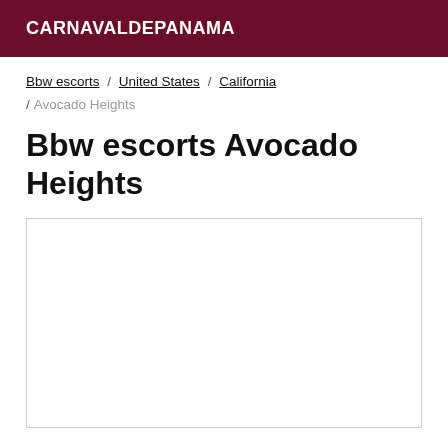CARNAVALDEPANAMA
Bbw escorts / United States / California / Avocado Heights
Bbw escorts Avocado Heights